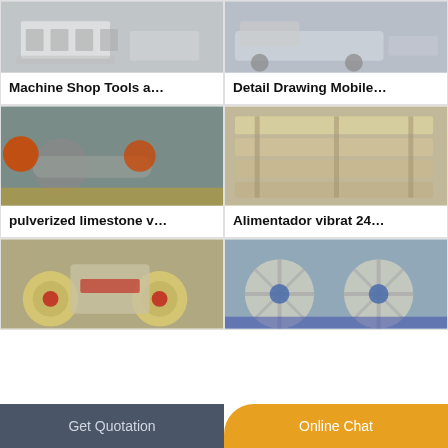[Figure (photo): Industrial machine shop equipment - white/grey heavy machinery in a factory setting]
Machine Shop Tools a…
[Figure (photo): Detail drawing mobile equipment - large vehicle/mobile crusher on a transport vehicle]
Detail Drawing Mobile…
[Figure (photo): Ball mill grinding equipment - large industrial ball mills in grey and orange in a factory]
pulverized limestone v…
[Figure (photo): Vibrating feeder equipment - large beige/sand colored industrial vibrating feeder screens stacked in a warehouse]
Alimentador vibrat 24…
[Figure (photo): Jaw crusher machine - beige and red industrial jaw crusher with large flywheels in a factory]
[Figure (photo): Large wheel/drum industrial equipment - blue and beige large rotating drums/wheels outdoors]
Get Quotation
Online Chat